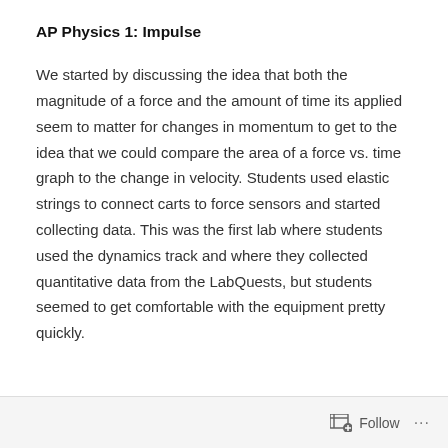AP Physics 1: Impulse
We started by discussing the idea that both the magnitude of a force and the amount of time its applied seem to matter for changes in momentum to get to the idea that we could compare the area of a force vs. time graph to the change in velocity. Students used elastic strings to connect carts to force sensors and started collecting data. This was the first lab where students used the dynamics track and where they collected quantitative data from the LabQuests, but students seemed to get comfortable with the equipment pretty quickly.
Follow ...